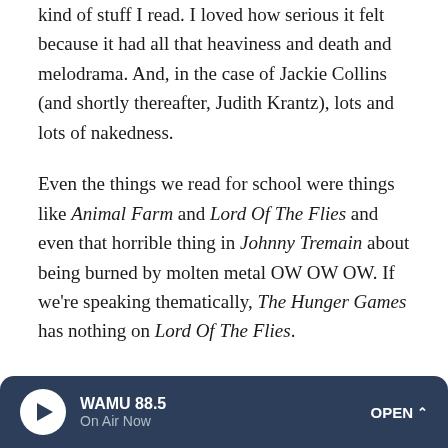kind of stuff I read. I loved how serious it felt because it had all that heaviness and death and melodrama. And, in the case of Jackie Collins (and shortly thereafter, Judith Krantz), lots and lots of nakedness.
Even the things we read for school were things like Animal Farm and Lord Of The Flies and even that horrible thing in Johnny Tremain about being burned by molten metal OW OW OW. If we're speaking thematically, The Hunger Games has nothing on Lord Of The Flies.
(I also took an entire class in high school were we read books about killing your family, double suicide, drowning, being murdered in your bed ... it was called "Shakespeare," I believe.)
WAMU 88.5 | On Air Now | OPEN